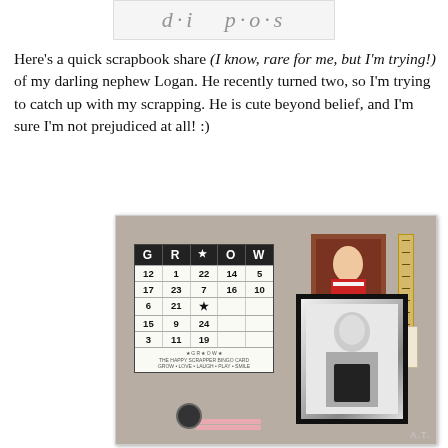[Figure (illustration): Partially visible blog header/logo at top of page, clipped]
Here's a quick scrapbook share (I know, rare for me, but I'm trying!) of my darling nephew Logan. He recently turned two, so I'm trying to catch up with my scrapping. He is cute beyond belief, and I'm sure I'm not prejudiced at all! :)
[Figure (photo): Scrapbook page featuring a GROW bingo-style card with numbers, a color photo of a toddler in red vest, a ruler embellishment, a tag label, a black-and-white photo of a baby, pink strip embellishments, and a circle button.]